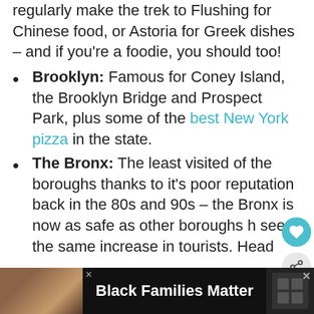regularly make the trek to Flushing for Chinese food, or Astoria for Greek dishes – and if you're a foodie, you should too!
Brooklyn: Famous for Coney Island, the Brooklyn Bridge and Prospect Park, plus some of the best New York pizza in the state.
The Bronx: The least visited of the boroughs thanks to it's poor reputation back in the 80s and 90s – the Bronx is now as safe as other boroughs [has] seen the same increase in tourists. Head
[Figure (screenshot): Advertisement bar at bottom: Black Families Matter text with family photo on left and close button]
[Figure (infographic): Overlay UI elements: heart icon circle (teal), share icon circle (grey), and What's Next card showing '15+ TOP Things to D...' with small thumbnail]